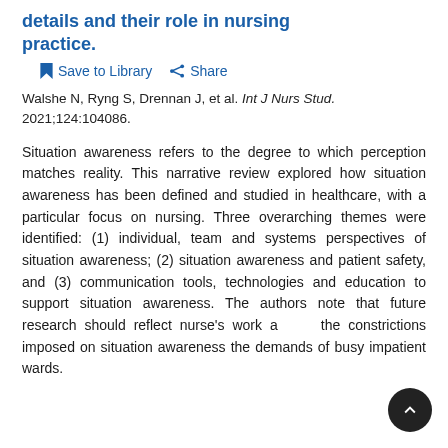...details and their role in nursing practice.
Save to Library   Share
Walshe N, Ryng S, Drennan J, et al. Int J Nurs Stud. 2021;124:104086.
Situation awareness refers to the degree to which perception matches reality. This narrative review explored how situation awareness has been defined and studied in healthcare, with a particular focus on nursing. Three overarching themes were identified: (1) individual, team and systems perspectives of situation awareness; (2) situation awareness and patient safety, and (3) communication tools, technologies and education to support situation awareness. The authors note that future research should reflect nurse's work and the constrictions imposed on situation awareness and the demands of busy impatient wards.